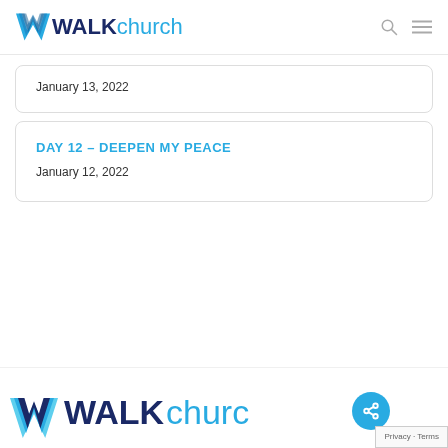WALK church
January 13, 2022
DAY 12 – DEEPEN MY PEACE
January 12, 2022
[Figure (logo): WALK church footer logo with W graphic mark in blue shades and text WALK in dark navy and church in light blue]
Privacy · Terms